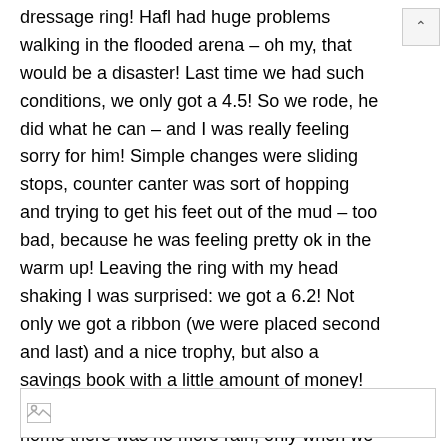dressage ring! Hafl had huge problems walking in the flooded arena – oh my, that would be a disaster! Last time we had such conditions, we only got a 4.5! So we rode, he did what he can – and I was really feeling sorry for him! Simple changes were sliding stops, counter canter was sort of hopping and trying to get his feet out of the mud – too bad, because he was feeling pretty ok in the warm up! Leaving the ring with my head shaking I was surprised: we got a 6.2! Not only we got a ribbon (we were placed second and last) and a nice trophy, but also a savings book with a little amount of money! HOORAY!!! At least, when we headed back home there was no more rain, only when we unloaded Hafl at home it started again – at almost 11pm and a day full of adventures!
[Figure (photo): Broken/loading image placeholder at bottom of page]